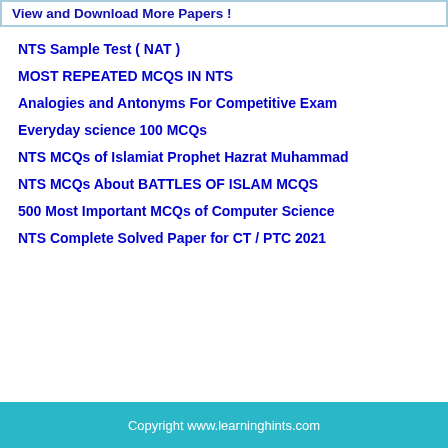View and Download More Papers !
NTS Sample Test ( NAT )
MOST REPEATED MCQS IN NTS
Analogies and Antonyms For Competitive Exam
Everyday science 100 MCQs
NTS MCQs of Islamiat Prophet Hazrat Muhammad
NTS MCQs About BATTLES OF ISLAM MCQS
500 Most Important MCQs of Computer Science
NTS Complete Solved Paper for CT / PTC 2021
Copyright www.learninghints.com